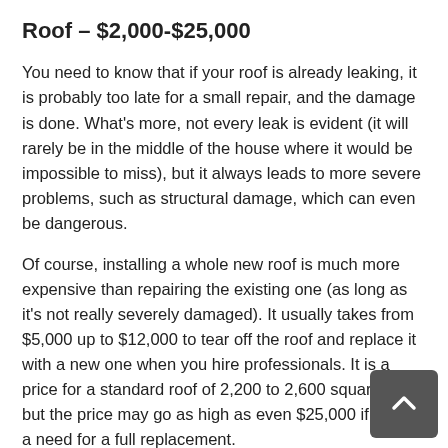Roof – $2,000-$25,000
You need to know that if your roof is already leaking, it is probably too late for a small repair, and the damage is done. What's more, not every leak is evident (it will rarely be in the middle of the house where it would be impossible to miss), but it always leads to more severe problems, such as structural damage, which can even be dangerous.
Of course, installing a whole new roof is much more expensive than repairing the existing one (as long as it's not really severely damaged). It usually takes from $5,000 up to $12,000 to tear off the roof and replace it with a new one when you hire professionals. It is a price for a standard roof of 2,200 to 2,600 square feet, but the price may go as high as even $25,000 if there's a need for a full replacement.